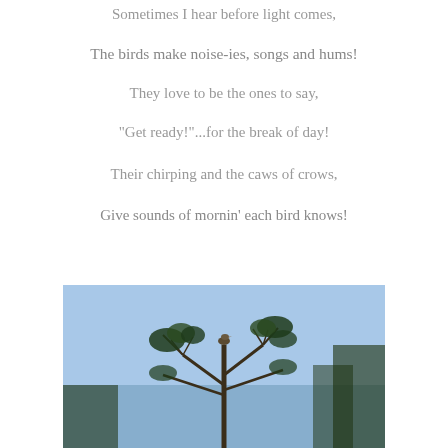Sometimes I hear before light comes,
The birds make noise-ies, songs and hums!
They love to be the ones to say,
"Get ready!"...for the break of day!
Their chirping and the caws of crows,
Give sounds of mornin' each bird knows!
[Figure (photo): A bird perched atop a tree with branches against a blue sky, photographed from below.]